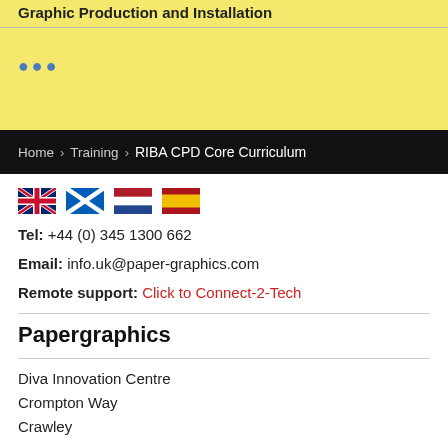Graphic Production and Installation
•••
Home > Training > RIBA CPD Core Curriculum
[Figure (illustration): Four country flags: UK (Union Jack), Scotland (Saltire), Netherlands (horizontal red-white-blue), Spain (horizontal red-yellow-red)]
Tel: +44 (0) 345 1300 662
Email: info.uk@paper-graphics.com
Remote support: Click to Connect-2-Tech
Papergraphics
Diva Innovation Centre
Crompton Way
Crawley